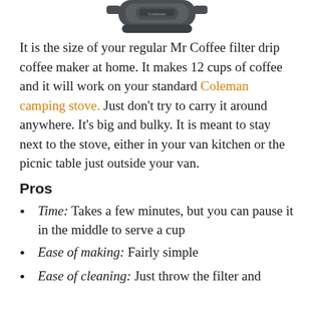[Figure (photo): Product photo of a dark gray Coleman camping coffee maker, viewed from above/side angle, showing the base and branding.]
It is the size of your regular Mr Coffee filter drip coffee maker at home. It makes 12 cups of coffee and it will work on your standard Coleman camping stove. Just don’t try to carry it around anywhere. It’s big and bulky. It is meant to stay next to the stove, either in your van kitchen or the picnic table just outside your van.
Pros
Time: Takes a few minutes, but you can pause it in the middle to serve a cup
Ease of making: Fairly simple
Ease of cleaning: Just throw the filter and